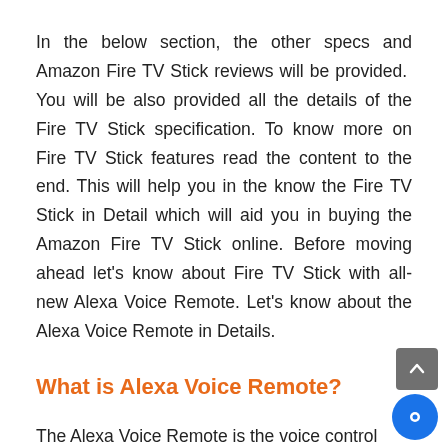In the below section, the other specs and Amazon Fire TV Stick reviews will be provided. You will be also provided all the details of the Fire TV Stick specification. To know more on Fire TV Stick features read the content to the end. This will help you in the know the Fire TV Stick in Detail which will aid you in buying the Amazon Fire TV Stick online. Before moving ahead let's know about Fire TV Stick with all-new Alexa Voice Remote. Let's know about the Alexa Voice Remote in Details.
What is Alexa Voice Remote?
The Alexa Voice Remote is the voice control